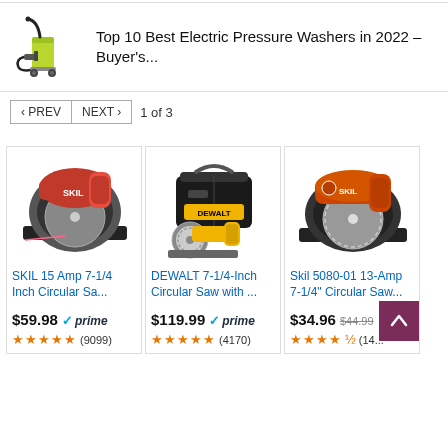[Figure (photo): Yellow-green electric pressure washer with black hose]
Top 10 Best Electric Pressure Washers in 2022 – Buyer's...
< PREV  NEXT >  1 of 3
[Figure (photo): SKIL red and grey circular saw]
SKIL 15 Amp 7-1/4 Inch Circular Sa...
$59.98  prime
★★★★★ (9099)
[Figure (photo): DEWALT yellow circular saw with black tool bag]
DEWALT 7-1/4-Inch Circular Saw with ...
$119.99  prime
★★★★★ (4170)
[Figure (photo): Skil orange and black circular saw]
Skil 5080-01 13-Amp 7-1/4" Circular Saw...
$34.96  $44.99
★★★★½ (14...